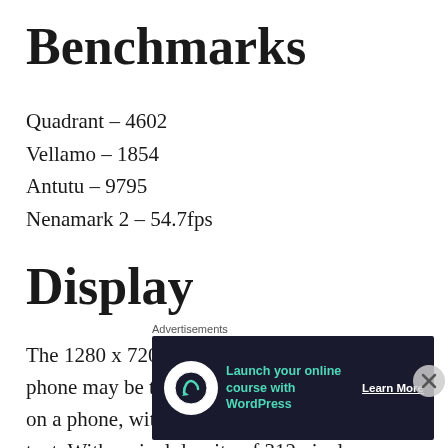Benchmarks
Quadrant – 4602
Vellamo – 1854
Antutu – 9795
Nenamark 2 – 54.7fps
Display
The 1280 x 720 SuperLCD 2 display on this phone may be the best display I have ever seen on a phone, with vibrant colours and sharp text. With a pixel density of 312 pixels per inch, the panel is